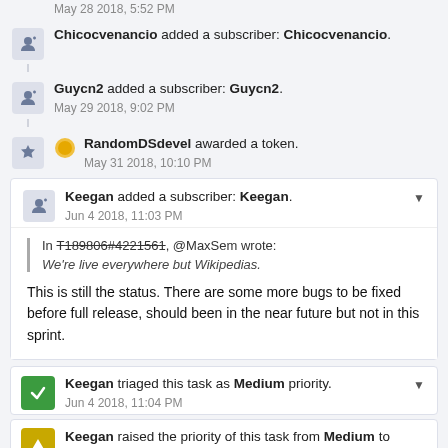May 28 2018, 5:52 PM
Chicocvenancio added a subscriber: Chicocvenancio.
Guycn2 added a subscriber: Guycn2.
May 29 2018, 9:02 PM
RandomDSdevel awarded a token.
May 31 2018, 10:10 PM
Keegan added a subscriber: Keegan.
Jun 4 2018, 11:03 PM
In T189806#4221561, @MaxSem wrote: We're live everywhere but Wikipedias.
This is still the status. There are some more bugs to be fixed before full release, should been in the near future but not in this sprint.
Keegan triaged this task as Medium priority.
Jun 4 2018, 11:04 PM
Keegan raised the priority of this task from Medium to Needs...